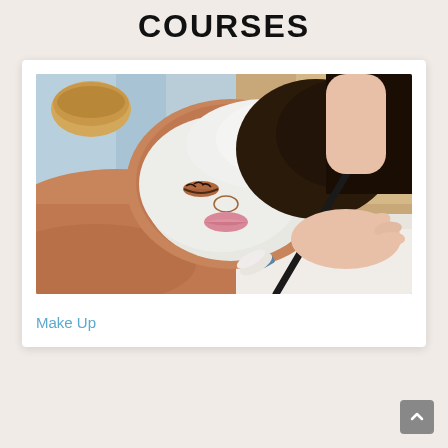COURSES
[Figure (photo): A person receiving a facial treatment with white clay mask applied to their face, with an aesthetician applying the mask using a brush. The client is lying down with eyes closed on a treatment table.]
Make Up